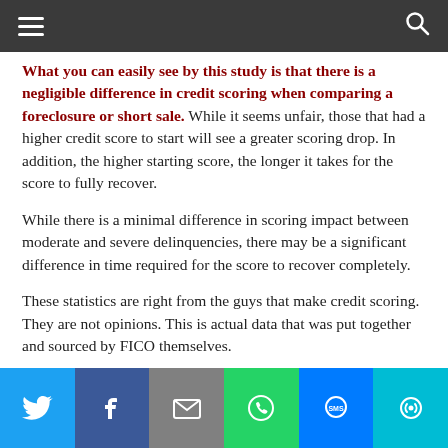Navigation bar with hamburger menu and search icon
What you can easily see by this study is that there is a negligible difference in credit scoring when comparing a foreclosure or short sale. While it seems unfair, those that had a higher credit score to start will see a greater scoring drop. In addition, the higher starting score, the longer it takes for the score to fully recover.
While there is a minimal difference in scoring impact between moderate and severe delinquencies, there may be a significant difference in time required for the score to recover completely.
These statistics are right from the guys that make credit scoring. They are not opinions. This is actual data that was put together and sourced by FICO themselves.
Benefits of a short sale vs foreclosure
So what are the benefits of going through a short sale rather
Social sharing bar: Twitter, Facebook, Email, WhatsApp, SMS, More